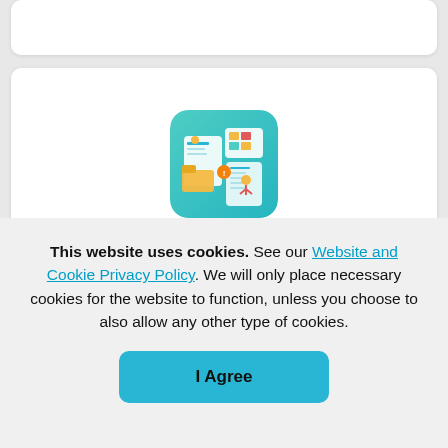[Figure (illustration): Student Data app icon — colorful illustration of students, documents, charts and data elements on a green rounded-square background]
Student Data
This website uses cookies. See our Website and Cookie Privacy Policy. We will only place necessary cookies for the website to function, unless you choose to also allow any other type of cookies.
I Agree